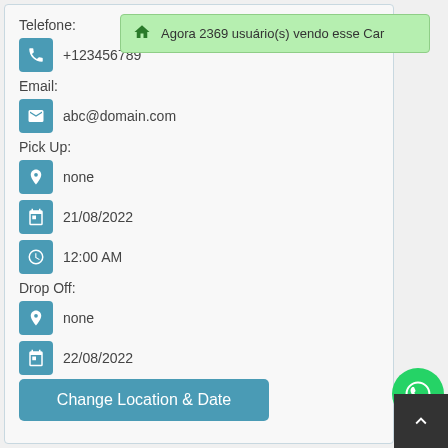Telefone:
+123456789
Agora 2369 usuário(s) vendo esse Car
Email:
abc@domain.com
Pick Up:
none
21/08/2022
12:00 AM
Drop Off:
none
22/08/2022
12:00 AM
Change Location & Date